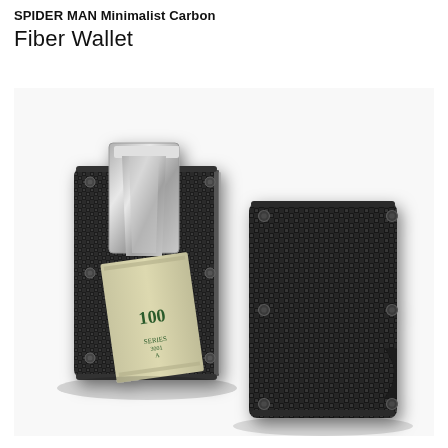SPIDER MAN Minimalist Carbon Fiber Wallet
[Figure (photo): Product photo showing two carbon fiber wallets with metal money clip. Left wallet is open showing a $100 bill held by a silver metal money clip, with carbon fiber texture visible. Right wallet shows the back face with carbon fiber weave pattern and metal corner screws. Both wallets are dark black/grey with distinctive carbon fiber weave texture.]